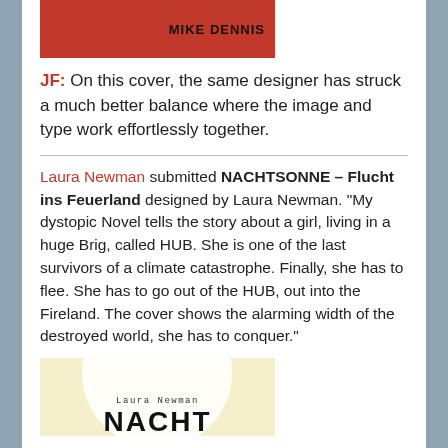[Figure (photo): Top portion of a red book cover showing 'MIKE DENNIS' text in black bold letters on a red background]
JF: On this cover, the same designer has struck a much better balance where the image and type work effortlessly together.
Laura Newman submitted NACHTSONNE – Flucht ins Feuerland designed by Laura Newman. "My dystopic Novel tells the story about a girl, living in a huge Brig, called HUB. She is one of the last survivors of a climate catastrophe. Finally, she has to flee. She has to go out of the HUB, out into the Fireland. The cover shows the alarming width of the destroyed world, she has to conquer."
[Figure (photo): Bottom portion of a book cover with yellowish/cream background, a white circle in the center, small author text 'Laura Newman' and large bold title text 'NACHT' partially visible]